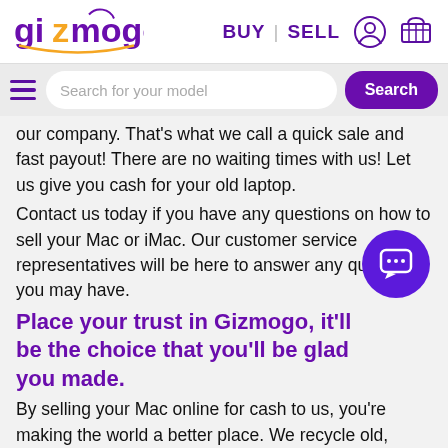gizmogo BUY | SELL
Search for your model
our company. That's what we call a quick sale and fast payout! There are no waiting times with us! Let us give you cash for your old laptop.
Contact us today if you have any questions on how to sell your Mac or iMac. Our customer service representatives will be here to answer any questions you may have.
Place your trust in Gizmogo, it'll be the choice that you'll be glad you made.
By selling your Mac online for cash to us, you're making the world a better place. We recycle old, used, and broken devices. We'll give you cash for your Mac, and then recycle it following recommended and safe procedures. Even if your device is no longer worth anything, we would still like you to